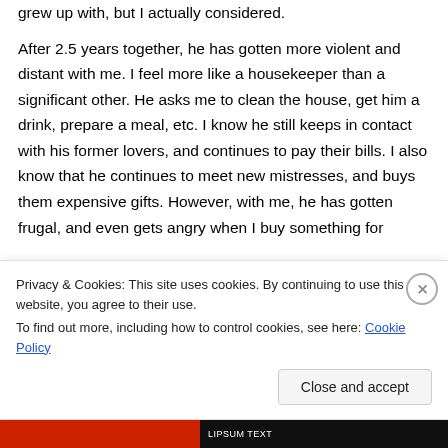grew up with, but I actually considered.
After 2.5 years together, he has gotten more violent and distant with me. I feel more like a housekeeper than a significant other. He asks me to clean the house, get him a drink, prepare a meal, etc. I know he still keeps in contact with his former lovers, and continues to pay their bills. I also know that he continues to meet new mistresses, and buys them expensive gifts. However, with me, he has gotten frugal, and even gets angry when I buy something for
Privacy & Cookies: This site uses cookies. By continuing to use this website, you agree to their use.
To find out more, including how to control cookies, see here: Cookie Policy
Close and accept